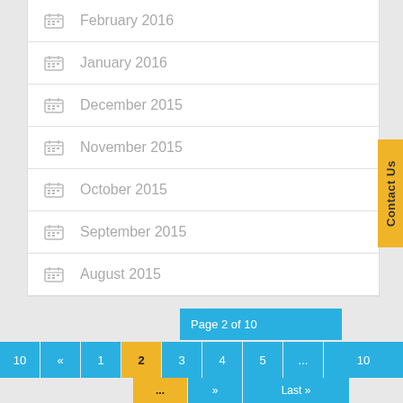February 2016
January 2016
December 2015
November 2015
October 2015
September 2015
August 2015
Contact Us
Page 2 of 10
10  «  1  2  3  4  5  ...  10  ...  »  Last »